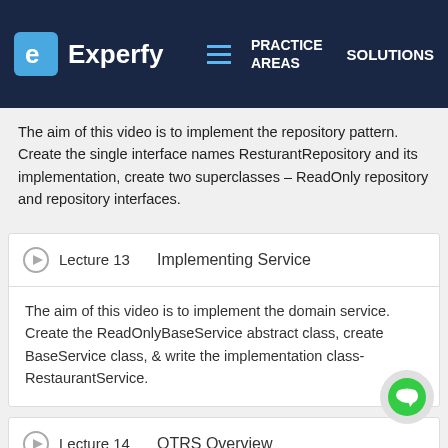Experfy | PRACTICE AREAS | SOLUTIONS
The aim of this video is to implement the repository pattern. Create the single interface names ResturantRepository and its implementation, create two superclasses – ReadOnly repository and repository interfaces.
Lecture 13   Implementing Service
The aim of this video is to implement the domain service. Create the ReadOnlyBaseService abstract class, create BaseService class, & write the implementation class-RestaurantService.
Lecture 14   OTRS Overview
The aim of this video to learn to use Online Table Reservation System to book a restaurant based on these services. Know about RestaurantService provides the